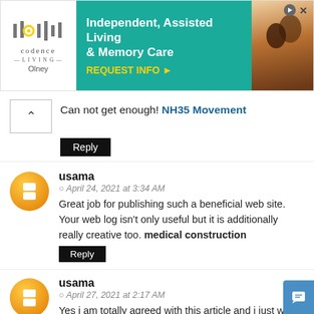[Figure (screenshot): Advertisement banner for Codence Living Olney - Independent, Assisted Living & Memory Care with REQUEST INFO button and photo of elderly couple]
Can not get enough! NH35 Movement
Reply
usama
April 24, 2021 at 3:34 AM
Great job for publishing such a beneficial web site. Your web log isn't only useful but it is additionally really creative too. medical construction
Reply
usama
April 27, 2021 at 2:17 AM
Yes i am totally agreed with this article and i just want say that this article is very nice and very informative article.I will make sure to be reading your blog more. You made a good point but I can't help but wonder, what about the other side? !!!!!!Thanks Prestige Song of the South